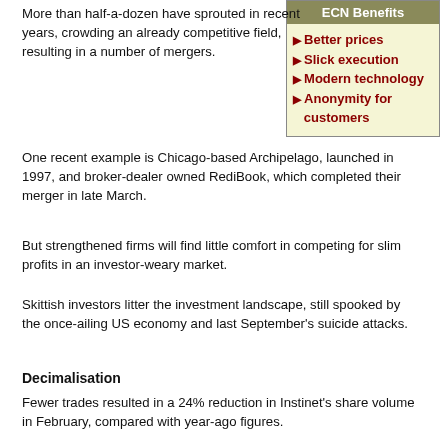More than half-a-dozen have sprouted in recent years, crowding an already competitive field, resulting in a number of mergers.
[Figure (infographic): ECN Benefits box with yellow background listing: Better prices, Slick execution, Modern technology, Anonymity for customers]
One recent example is Chicago-based Archipelago, launched in 1997, and broker-dealer owned RediBook, which completed their merger in late March.
But strengthened firms will find little comfort in competing for slim profits in an investor-weary market.
Skittish investors litter the investment landscape, still spooked by the once-ailing US economy and last September's suicide attacks.
Decimalisation
Fewer trades resulted in a 24% reduction in Instinet's share volume in February, compared with year-ago figures.
That significant fall may lead Instinet to announce its first-ever loss when it reports its results for the first three months of 2002
[Figure (photo): AP photo of a crowd of traders on an exchange floor]